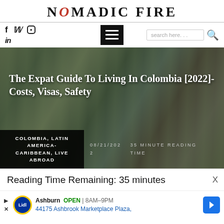NOMADIC FIRE
[Figure (screenshot): Navigation bar with social media icons (Facebook, Twitter, Instagram, LinkedIn), hamburger menu button, and search box]
[Figure (photo): Hero image of a busy outdoor market/street with people browsing stalls, overlaid with article title: The Expat Guide To Living In Colombia [2022]- Costs, Visas, Safety. Bottom meta bar shows categories: COLOMBIA, LATIN AMERICA-CARIBBEAN, LIVE ABROAD and date 08/21/2022, reading time 35 MINUTE READING TIME]
The Expat Guide To Living In Colombia [2022]- Costs, Visas, Safety
COLOMBIA, LATIN AMERICA-CARIBBEAN, LIVE ABROAD
08/21/2022  35 MINUTE READING TIME
Reading Time Remaining: 35 minutes
Ashburn  OPEN | 8AM–9PM
44175 Ashbrook Marketplace Plaza,